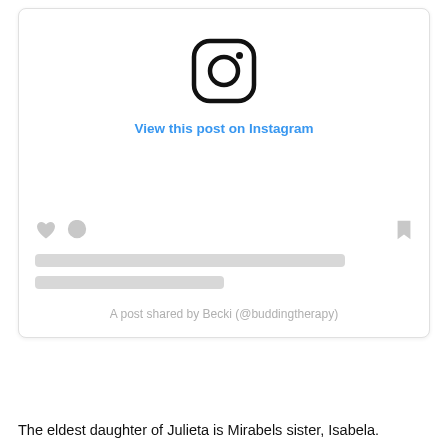[Figure (screenshot): Instagram embedded post placeholder showing the Instagram logo, 'View this post on Instagram' link in blue, placeholder action icons (heart, comment, bookmark), two grey placeholder content lines, and 'A post shared by Becki (@buddingtherapy)' text.]
The eldest daughter of Julieta is Mirabels sister, Isabela.